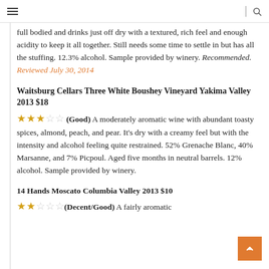☰  | 🔍
full bodied and drinks just off dry with a textured, rich feel and enough acidity to keep it all together. Still needs some time to settle in but has all the stuffing. 12.3% alcohol. Sample provided by winery. Recommended. Reviewed July 30, 2014
Waitsburg Cellars Three White Boushey Vineyard Yakima Valley 2013 $18
★★★☆☆ (Good) A moderately aromatic wine with abundant toasty spices, almond, peach, and pear. It's dry with a creamy feel but with the intensity and alcohol feeling quite restrained. 52% Grenache Blanc, 40% Marsanne, and 7% Picpoul. Aged five months in neutral barrels. 12% alcohol. Sample provided by winery.
14 Hands Moscato Columbia Valley 2013 $10
★★☆☆☆ (Decent/Good) A fairly aromatic